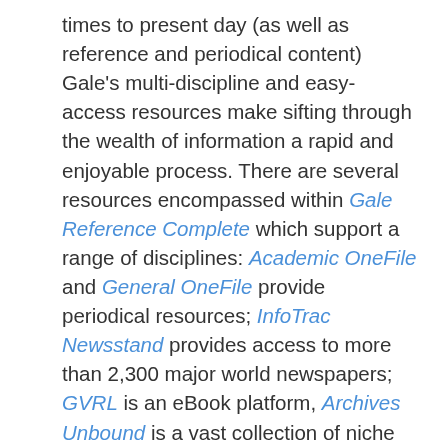times to present day (as well as reference and periodical content) Gale's multi-discipline and easy-access resources make sifting through the wealth of information a rapid and enjoyable process. There are several resources encompassed within Gale Reference Complete which support a range of disciplines: Academic OneFile and General OneFile provide periodical resources; InfoTrac Newsstand provides access to more than 2,300 major world newspapers; GVRL is an eBook platform, Archives Unbound is a vast collection of niche primary source archives, and finally Gale Literary Sources is perfect for finding those well-needed critics for your English Literature or Modern Languages essay.